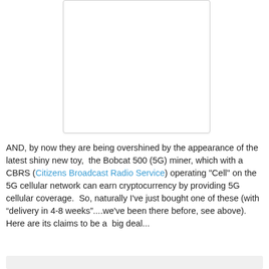[Figure (other): White rectangular image placeholder with light border and shadow]
AND, by now they are being overshined by the appearance of the latest shiny new toy,  the Bobcat 500 (5G) miner, which with a CBRS (Citizens Broadcast Radio Service) operating "Cell" on the 5G cellular network can earn cryptocurrency by providing 5G cellular coverage.  So, naturally I've just bought one of these (with “delivery in 4-8 weeks”....we've been there before, see above).  Here are its claims to be a  big deal...